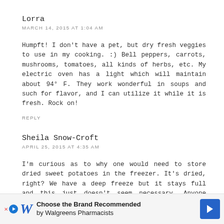Lorra
MARCH 14, 2015 AT 1:04 AM
Humpft! I don't have a pet, but dry fresh veggies to use in my cooking. :) Bell peppers, carrots, mushrooms, tomatoes, all kinds of herbs, etc. My electric oven has a light which will maintain about 94° F. They work wonderful in soups and such for flavor, and I can utilize it while it is fresh. Rock on!
REPLY
Sheila Snow-Croft
APRIL 25, 2015 AT 4:35 AM
I'm curious as to why one would need to store dried sweet potatoes in the freezer. It's dried, right? We have a deep freeze but it stays full and this just doesn't seem necessary. Anyone vacuum sealed them for longer storage life?
Also, many other websites suggest microwaving them for a few m... color r...
[Figure (screenshot): Walgreens advertisement banner: 'Choose the Brand Recommended by Walgreens Pharmacists']